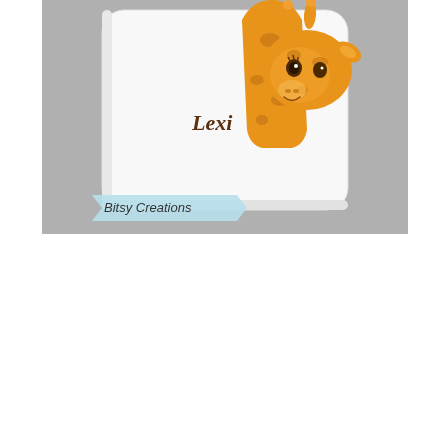[Figure (photo): A white decorative pillow featuring a cartoon giraffe illustration. The giraffe is orange with brown spots and a smiling face, peeking over/around the pillow. The name 'Lexi' is printed in brown cursive script on the pillow. The pillow is photographed against a grey background. A light blue banner in the lower left corner reads 'Bitsy Creations' in stylized text.]